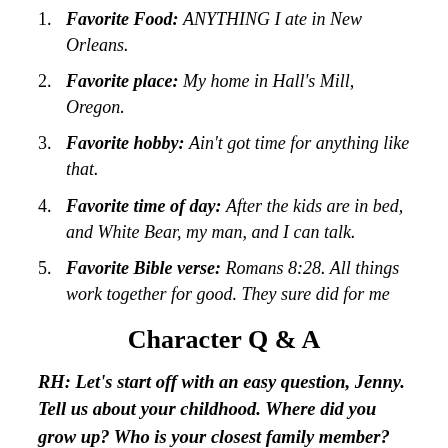1. Favorite Food: ANYTHING I ate in New Orleans.
2. Favorite place: My home in Hall's Mill, Oregon.
3. Favorite hobby: Ain't got time for anything like that.
4. Favorite time of day: After the kids are in bed, and White Bear, my man, and I can talk.
5. Favorite Bible verse: Romans 8:28. All things work together for good. They sure did for me
Character Q & A
RH: Let's start off with an easy question, Jenny. Tell us about your childhood. Where did you grow up? Who is your closest family member? Who would you